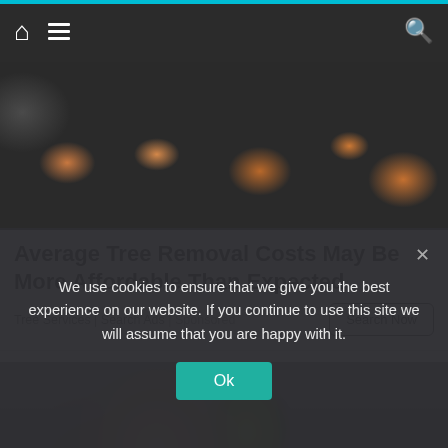Navigation bar with home icon, menu icon, and search icon
[Figure (photo): Overhead view of cut tree stumps and logs with orange-brown wood grain visible]
Average Tree Removal Costs May Be More Affordable Than Expected
Tree Services | Search Ads | Sponsored
[Figure (photo): Woman lying on the ground exercising with a yellow-green chair or equipment nearby]
We use cookies to ensure that we give you the best experience on our website. If you continue to use this site we will assume that you are happy with it.